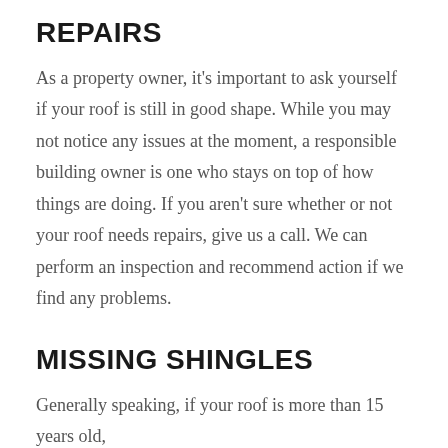REPAIRS
As a property owner, it's important to ask yourself if your roof is still in good shape. While you may not notice any issues at the moment, a responsible building owner is one who stays on top of how things are doing. If you aren't sure whether or not your roof needs repairs, give us a call. We can perform an inspection and recommend action if we find any problems.
MISSING SHINGLES
Generally speaking, if your roof is more than 15 years old,